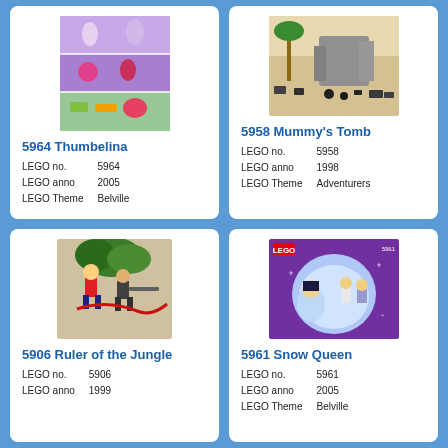[Figure (photo): LEGO 5964 Thumbelina set box art - purple background with Belville figures and accessories]
5964 Thumbelina
LEGO no.    5964
LEGO anno   2005
LEGO Theme  Belville
[Figure (photo): LEGO 5958 Mummy's Tomb set - desert scene with rocks, palm tree and figures]
5958 Mummy's Tomb
LEGO no.    5958
LEGO anno   1998
LEGO Theme  Adventurers
[Figure (photo): LEGO 5906 Ruler of the Jungle set - minifigures with jungle accessories]
5906 Ruler of the Jungle
LEGO no.    5906
LEGO anno   1999
[Figure (photo): LEGO 5961 Snow Queen set box art - purple background with princess and winter figures]
5961 Snow Queen
LEGO no.    5961
LEGO anno   2005
LEGO Theme  Belville